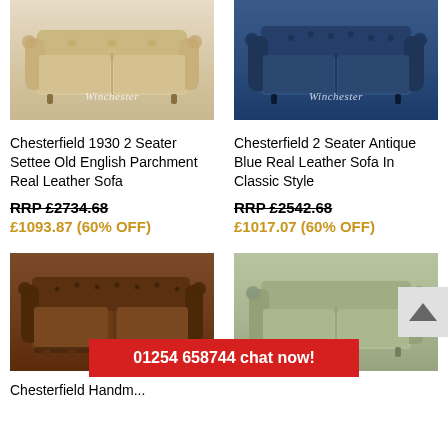[Figure (photo): Chesterfield 1930 2-seater sofa in beige/parchment leather, with scroll arms, viewed from front]
[Figure (photo): Chesterfield 2-seater sofa in antique blue real leather, tufted back and arms, viewed from front]
Chesterfield 1930 2 Seater Settee Old English Parchment Real Leather Sofa
Chesterfield 2 Seater Antique Blue Real Leather Sofa In Classic Style
RRP £2734.68
£1093.87 (60% OFF)
RRP £2542.68
£1017.07 (60% OFF)
[Figure (photo): Chesterfield handmade 2-seater sofa in antique brown leather, tufted Chesterfield style, viewed from front]
[Figure (photo): Chesterfield 2-seater sofa in sage/olive green leather, viewed from front]
Chesterfield Handm...
01254 658744 chat now!